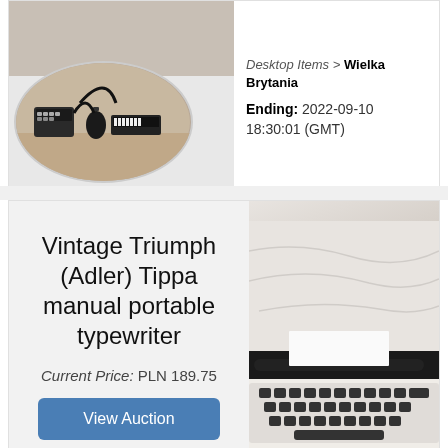[Figure (photo): Top auction card with oval thumbnail photo of miniature desktop items (typewriter, piano, lamp figurines) and a partial background image top right. White background card.]
Desktop Items > Wielka Brytania
Ending: 2022-09-10 18:30:01 (GMT)
[Figure (photo): Bottom auction card showing a vintage Triumph (Adler) Tippa manual portable typewriter. Right side shows a photo of the typewriter in cream/white color against white fabric background. Left side has text and button on light grey background.]
Vintage Triumph (Adler) Tippa manual portable typewriter
Current Price: PLN 189.75
View Auction